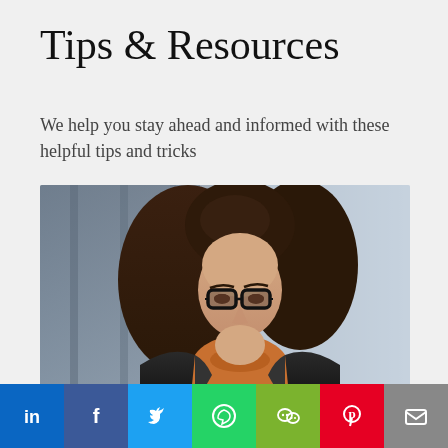Tips & Resources
We help you stay ahead and informed with these helpful tips and tricks
[Figure (photo): Woman with glasses and dark wavy hair looking down at a laptop, wearing a leather jacket over an orange turtleneck, in an office setting]
Find a broker
Social share bar: LinkedIn, Facebook, Twitter, WhatsApp, WeChat, Pinterest, Email